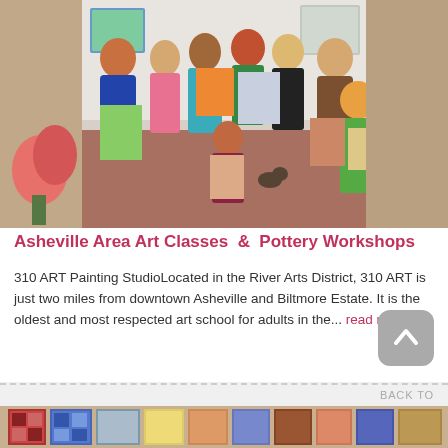[Figure (photo): Group photo of approximately 9 women in an art studio, holding up their paintings. They are standing and kneeling in an art class setting with artwork visible in the background.]
Asheville Area Art Classes & Pottery Workshops
310 ART Painting StudioLocated in the River Arts District, 310 ART is just two miles from downtown Asheville and Biltmore Estate. It is the oldest and most respected art school for adults in the... read more
[Figure (photo): Partial view of quilts or textile artworks displayed on racks in what appears to be a gallery or shop setting.]